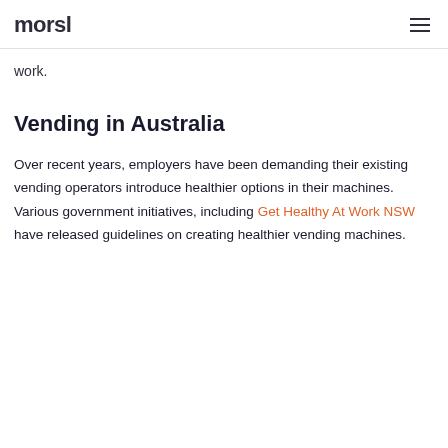morsl
work.
Vending in Australia
Over recent years, employers have been demanding their existing vending operators introduce healthier options in their machines. Various government initiatives, including Get Healthy At Work NSW have released guidelines on creating healthier vending machines.